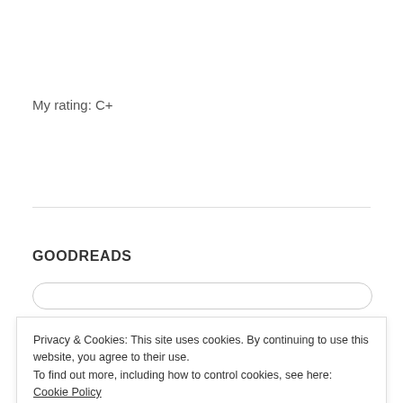My rating: C+
GOODREADS
Privacy & Cookies: This site uses cookies. By continuing to use this website, you agree to their use.
To find out more, including how to control cookies, see here: Cookie Policy
Close and accept